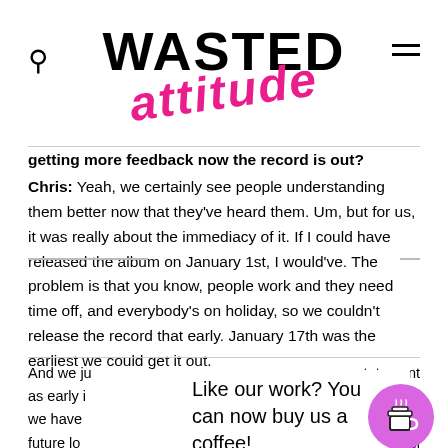WASTED ATTITUDE
getting more feedback now the record is out?
Chris: Yeah, we certainly see people understanding them better now that they've heard them. Um, but for us, it was really about the immediacy of it. If I could have released the album on January 1st, I would've. The problem is that you know, people work and they need time off, and everybody's on holiday, so we couldn't release the record that early. January 17th was the earliest we could get it out.
And we ju... statement as early i... tunity that we have... the w... future lo... visi... of people like Donald Trump and Boris Johnson and the AFD in
Like our work? You can now buy us a coffee!